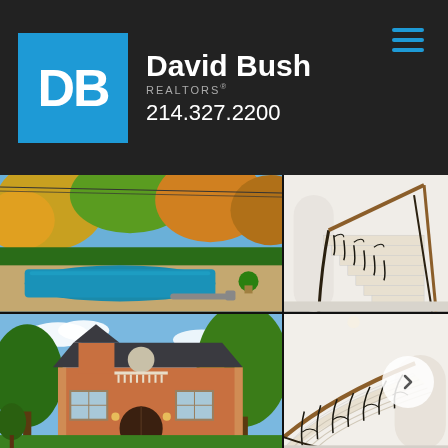David Bush REALTORS 214.327.2200
[Figure (photo): Outdoor swimming pool surrounded by lush green hedges and colorful autumn trees]
[Figure (photo): Elegant interior staircase with wrought iron railing and wood handrail in white interior]
[Figure (photo): Brick French-style house exterior with arched windows and large trees]
[Figure (photo): Interior curved staircase with ornate wrought iron railing in white foyer]